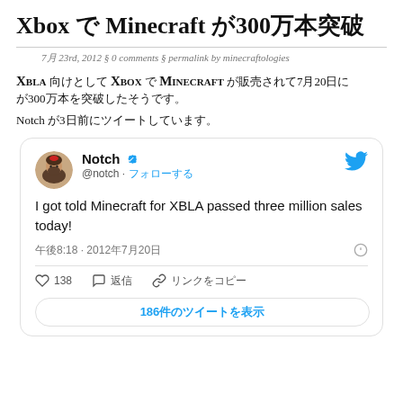Xbox で Minecraft が300万本突破
7月 23rd, 2012 § 0 comments § permalink by minecraftologies
XBLA 向けとして Xbox で Minecraft が販売されて7月20日に 300万本を突破したそうです。
Notch が3日前にツイートしています。
[Figure (screenshot): Embedded tweet from @notch (Notch, verified) saying 'I got told Minecraft for XBLA passed three million sales today!' posted at 午後8:18 · 2012年7月20日, with 138 likes, 返信 replies, リンクをコピー, and 186件のツイートを表示 button.]